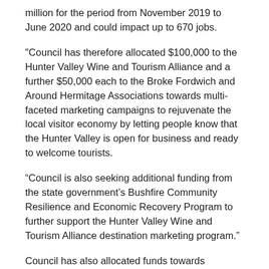million for the period from November 2019 to June 2020 and could impact up to 670 jobs.
"Council has therefore allocated $100,000 to the Hunter Valley Wine and Tourism Alliance and a further $50,000 each to the Broke Fordwich and Around Hermitage Associations towards multi-faceted marketing campaigns to rejuvenate the local visitor economy by letting people know that the Hunter Valley is open for business and ready to welcome tourists.
“Council is also seeking additional funding from the state government’s Bushfire Community Resilience and Economic Recovery Program to further support the Hunter Valley Wine and Tourism Alliance destination marketing program.”
Council has also allocated funds towards community development programs, asset management and infrastructure renewal.